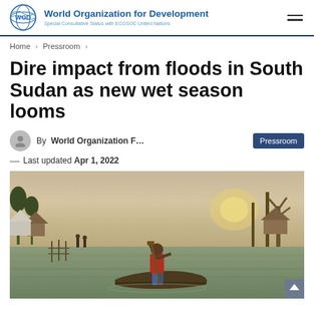World Organization for Development — Special Consultative Status with ECOSOC United Nations
Home > Pressroom >
Dire impact from floods in South Sudan as new wet season looms
By World Organization F... — Last updated Apr 1, 2022
[Figure (photo): A person standing in a wooden dugout canoe using a long pole to navigate floodwaters, with thatched-roof structures and bare trees visible in the background at sunset or dusk.]